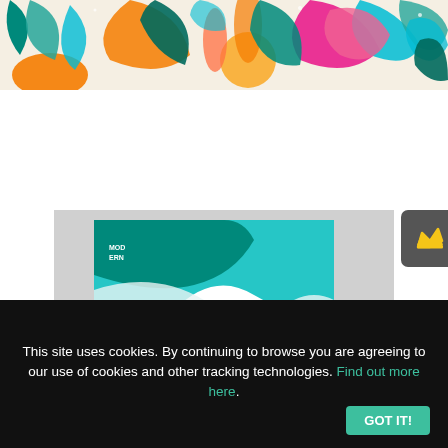[Figure (illustration): Colorful tropical/abstract banner with teal, orange, pink, green leaves and shapes on cream background]
[Figure (illustration): Abstract brochure design preview card showing teal wave shape on white background with bold dark blue text 'abstract brochure design' and subtitle 'Modern Marketing'. MOD ERN label top left. Displayed on gray background with a dark crown icon button top right.]
This site uses cookies. By continuing to browse you are agreeing to our use of cookies and other tracking technologies. Find out more here.